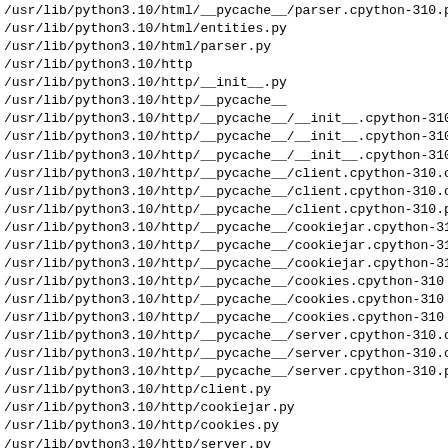/usr/lib/python3.10/html/__pycache__/parser.cpython-310.p
/usr/lib/python3.10/html/entities.py
/usr/lib/python3.10/html/parser.py
/usr/lib/python3.10/http
/usr/lib/python3.10/http/__init__.py
/usr/lib/python3.10/http/__pycache__
/usr/lib/python3.10/http/__pycache__/__init__.cpython-310
/usr/lib/python3.10/http/__pycache__/__init__.cpython-310
/usr/lib/python3.10/http/__pycache__/__init__.cpython-310
/usr/lib/python3.10/http/__pycache__/client.cpython-310.c
/usr/lib/python3.10/http/__pycache__/client.cpython-310.c
/usr/lib/python3.10/http/__pycache__/client.cpython-310.p
/usr/lib/python3.10/http/__pycache__/cookiejar.cpython-31
/usr/lib/python3.10/http/__pycache__/cookiejar.cpython-31
/usr/lib/python3.10/http/__pycache__/cookiejar.cpython-31
/usr/lib/python3.10/http/__pycache__/cookies.cpython-310
/usr/lib/python3.10/http/__pycache__/cookies.cpython-310
/usr/lib/python3.10/http/__pycache__/cookies.cpython-310
/usr/lib/python3.10/http/__pycache__/server.cpython-310.c
/usr/lib/python3.10/http/__pycache__/server.cpython-310.c
/usr/lib/python3.10/http/__pycache__/server.cpython-310.p
/usr/lib/python3.10/http/client.py
/usr/lib/python3.10/http/cookiejar.py
/usr/lib/python3.10/http/cookies.py
/usr/lib/python3.10/http/server.py
/usr/lib/python3.10/imaplib.py
/usr/lib/python3.10/imghdr.py
/usr/lib/python3.10/imp.py
/usr/lib/python3.10/importlib
/usr/lib/python3.10/importlib/__init__.py